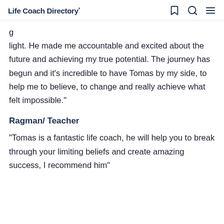Life Coach Directory*
g
light. He made me accountable and excited about the future and achieving my true potential. The journey has begun and it's incredible to have Tomas by my side, to help me to believe, to change and really achieve what felt impossible."
Ragman/ Teacher
"Tomas is a fantastic life coach, he will help you to break through your limiting beliefs and create amazing success, I recommend him"